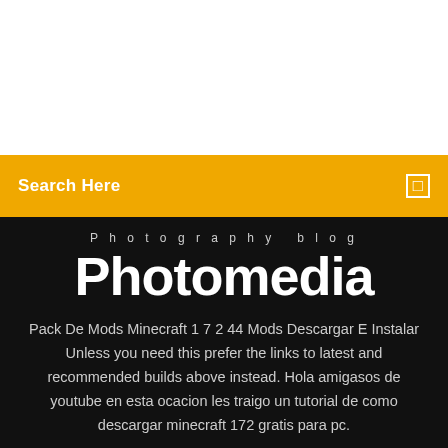[Figure (other): White blank area at top of page]
Search Here
Photography blog
Photomedia
Pack De Mods Minecraft 1 7 2 44 Mods Descargar E Instalar Unless you need this prefer the links to latest and recommended builds above instead. Hola amigasos de youtube en esta ocacion les traigo un tutorial de como descargar minecraft 172 gratis para pc.